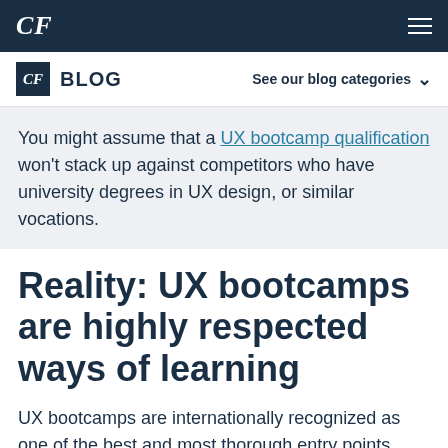CF
CF BLOG  See our blog categories
You might assume that a UX bootcamp qualification won't stack up against competitors who have university degrees in UX design, or similar vocations.
Reality: UX bootcamps are highly respected ways of learning
UX bootcamps are internationally recognized as one of the best and most thorough entry points